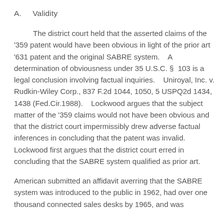A.    Validity
The district court held that the asserted claims of the '359 patent would have been obvious in light of the prior art '631 patent and the original SABRE system.    A determination of obviousness under 35 U.S.C. §  103 is a legal conclusion involving factual inquiries.    Uniroyal, Inc. v. Rudkin-Wiley Corp., 837 F.2d 1044, 1050, 5 USPQ2d 1434, 1438 (Fed.Cir.1988).    Lockwood argues that the subject matter of the '359 claims would not have been obvious and that the district court impermissibly drew adverse factual inferences in concluding that the patent was invalid.    Lockwood first argues that the district court erred in concluding that the SABRE system qualified as prior art.
American submitted an affidavit averring that the SABRE system was introduced to the public in 1962, had over one thousand connected sales desks by 1965, and was